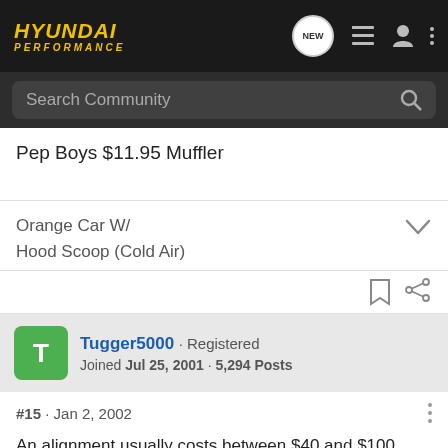Hyundai Performance
Pep Boys $11.95 Muffler
Orange Car W/ Hood Scoop (Cold Air)
Tugger5000 · Registered
Joined Jul 25, 2001 · 5,294 Posts
#15 · Jan 2, 2002
An alignment usually costs between $40 and $100.
With an A... usually noticed that you slight ly over ($10...